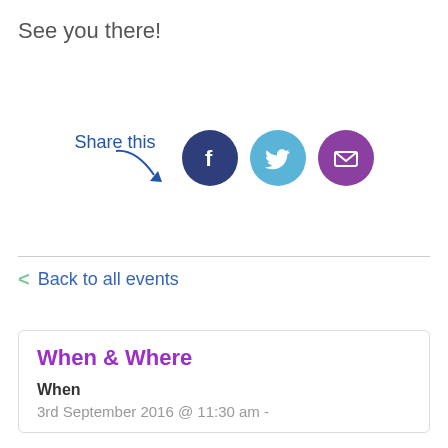See you there!
[Figure (infographic): Share this label with a curved arrow pointing to three social media icon circles: Facebook (dark blue), Twitter (light blue), and Email (purple)]
< Back to all events
When & Where
When
3rd September 2016 @ 11:30 am -